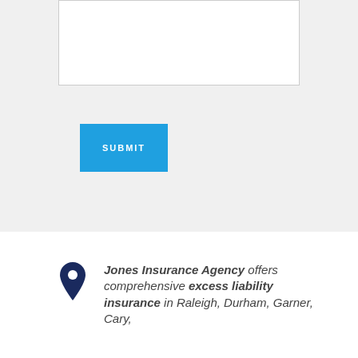[Figure (other): Text input area (textarea form field) with light gray background]
[Figure (other): Blue submit button with white text reading SUBMIT]
Jones Insurance Agency offers comprehensive excess liability insurance in Raleigh, Durham, Garner, Cary,